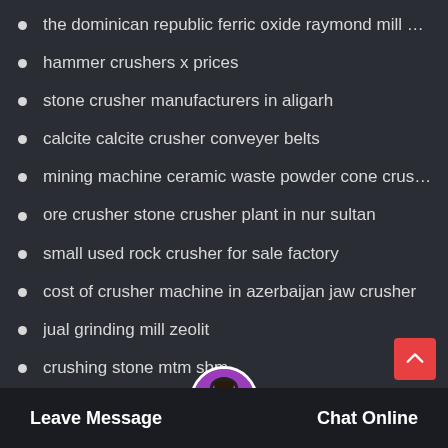the dominican republic ferric oxide raymond mill manufac…
hammer crushers x prices
stone crusher manufacturers in aligarh
calcite calcite crusher conveyer belts
mining machine ceramic waste powder cone crusher equi…
ore crusher stone crusher plant in nur sultan
small used rock crusher for sale factory
cost of crusher machine in azerbaijan jaw crusher
jual grinding mill zeolit
crushing stone mtm sbm
Leave Message   Chat Online